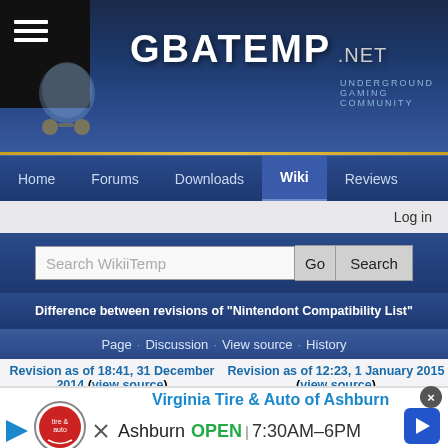GBATEMP.NET - Underground Gaming Community
Home · Forums · Downloads · Wiki · Reviews
Log in
Search WikiiTemp
Difference between revisions of "Nintendont Compatibility List"
Page · Discussion · View source · History
Revision as of 18:41, 31 December 2014 (view source) Shawshank (talk | contribs) (→S) ← Older edit
Revision as of 12:23, 1 January 2015 (view source) Shawshank (talk | contribs) (→S) Newer edit →
[Figure (screenshot): Advertisement banner for Virginia Tire & Auto of Ashburn showing logo, business name, open status and hours 7:30AM-6PM with navigation arrow icon]